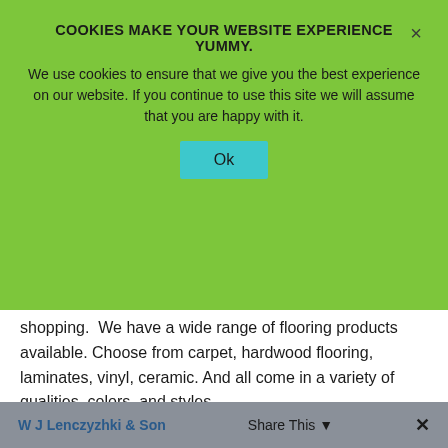COOKIES MAKE YOUR WEBSITE EXPERIENCE YUMMY.
We use cookies to ensure that we give you the best experience on our website. If you continue to use this site we will assume that you are happy with it.
shopping.  We have a wide range of flooring products available. Choose from carpet, hardwood flooring, laminates, vinyl, ceramic. And all come in a variety of qualities, colors, and styles.
Expertise Counts
Our experienced and knowledgeable staff will help you find the right product for all your flooring needs. TM Carpet and Floors has served the Baltimore and central Maryland communities since 1974.
W J Lenczyzhki & Son    Share This    ✕